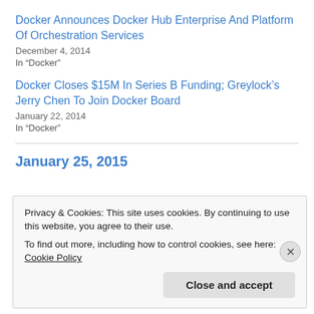Docker Announces Docker Hub Enterprise And Platform Of Orchestration Services
December 4, 2014
In “Docker”
Docker Closes $15M In Series B Funding; Greylock’s Jerry Chen To Join Docker Board
January 22, 2014
In “Docker”
January 25, 2015
Privacy & Cookies: This site uses cookies. By continuing to use this website, you agree to their use.
To find out more, including how to control cookies, see here: Cookie Policy
Close and accept